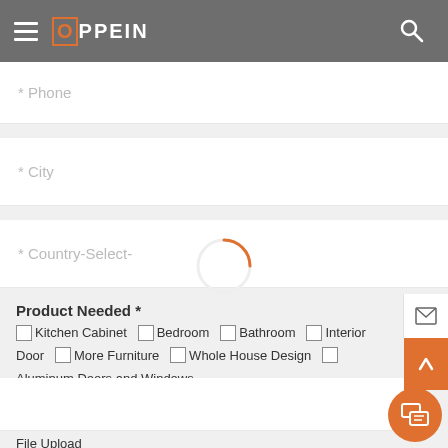[Figure (screenshot): OPPEIN website header with hamburger menu, logo, and search icon on grey background]
* Phone
* City
* Country-Select-
[Figure (other): Loading spinner - orange partial circle]
Product Needed *
Kitchen Cabinet
Bedroom
Bathroom
Interior Door
More Furniture
Whole House Design
Aluminum Doors and Windows
File Upload
Choose File  No file chosen